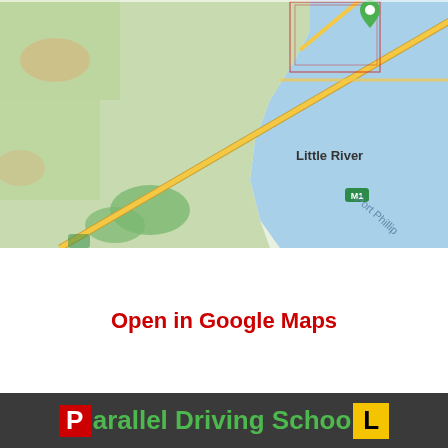[Figure (map): Google Maps screenshot showing Wyndham Park area with Little River, Lara, Point Wilson locations, M1 motorway, C109 road, and Port Phillip bay visible.]
Open in Google Maps
[Figure (logo): Parallel Driving School logo with red P box, green text 'arallel Driving Schoo', and yellow L box]